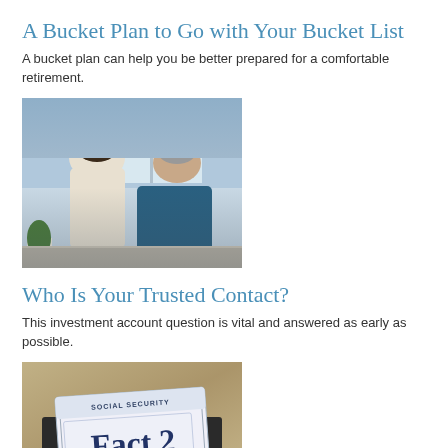A Bucket Plan to Go with Your Bucket List
A bucket plan can help you be better prepared for a comfortable retirement.
[Figure (photo): Two women having a conversation near a window indoors; one has her back to camera, the other is an older woman smiling and wearing a teal top.]
Who Is Your Trusted Contact?
This investment account question is vital and answered as early as possible.
[Figure (photo): A Social Security card with 'Social Security Fact 2' printed on it, resting on a dark surface.]